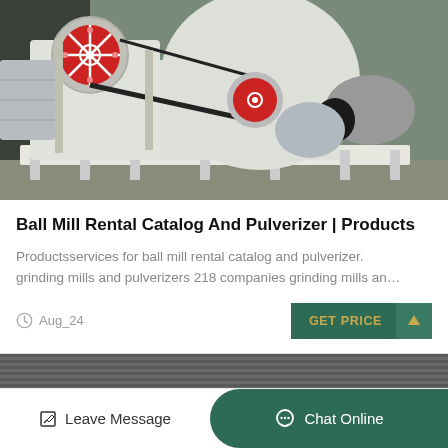[Figure (photo): Industrial ball mill / pulverizer machine, white painted heavy equipment on a pallet outdoors. Red flywheel pulleys visible.]
Ball Mill Rental Catalog And Pulverizer | Products
Productsservices for ball mill rental catalog and pulverizer. grinding mills and pulverizers 218 companies grinding mills an…
Aug_24
GET PRICE
[Figure (photo): Partial view of a second industrial machine, gray corrugated surface.]
Leave Message
Chat Online